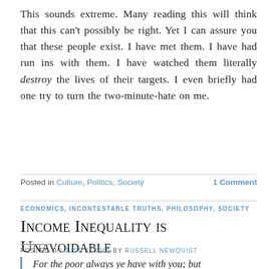This sounds extreme. Many reading this will think that this can't possibly be right. Yet I can assure you that these people exist. I have met them. I have had run ins with them. I have watched them literally destroy the lives of their targets. I even briefly had one try to turn the two-minute-hate on me.
Posted in Culture, Politics, Society   1 Comment
ECONOMICS, INCONTESTABLE TRUTHS, PHILOSOPHY, SOCIETY
Income Inequality is Unavoidable
POSTED ON JUNE 1, 2015 BY RUSSELL NEWQUIST
For the poor always ye have with you; but